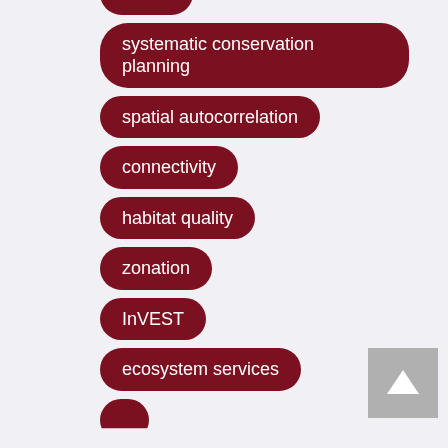[Figure (infographic): A vertical list of dark red pill-shaped keyword tags on a light gray background, each containing white text: 'model', 'systematic conservation planning', 'spatial autocorrelation', 'connectivity', 'habitat quality', 'zonation', 'InVEST', 'ecosystem services', and a partially visible tag at the bottom. A gray scroll-to-top button with an upward arrow is in the bottom-right corner.]